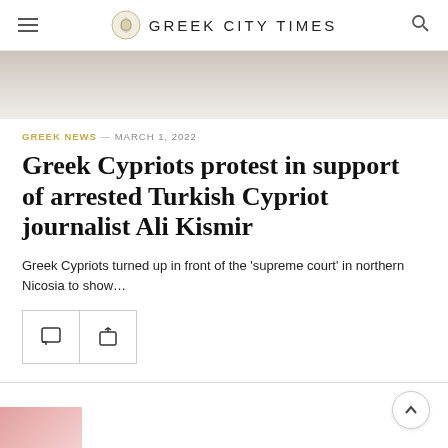GREEK CITY TIMES
[Figure (photo): Partial hero image, light beige/gray tones, top of article image cropped]
GREEK NEWS — MARCH 1, 2022
Greek Cypriots protest in support of arrested Turkish Cypriot journalist Ali Kismir
Greek Cypriots turned up in front of the 'supreme court' in northern Nicosia to show...
[Figure (other): Comment and share action buttons]
[Figure (photo): Partial next article thumbnail, pink/rose tones, bottom of page]